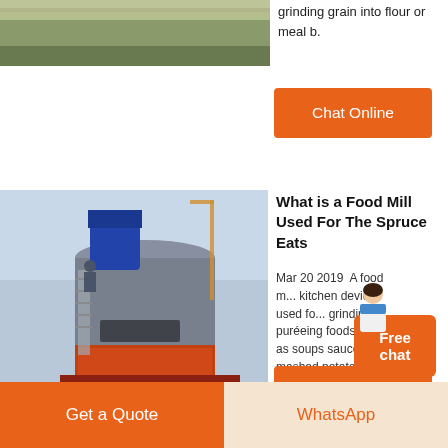[Figure (photo): Outdoor photo, field or landscape with green vegetation and a wall]
grinding grain into flour or meal b.
[Figure (other): Orange button labeled Chat Online]
[Figure (photo): Industrial mill machine with a worker on a ladder, large grey cylindrical structure with orange base, construction cranes in background]
What is a Food Mill Used For The Spruce Eats
Mar 20 2019  A food m... kitchen device used fo... grinding or puréeing foods such as soups sauces or mashed potatoes may be used during canning or making preserves to produce a smooth puree without seeds skins or stems It can be used with hot or cold food.
[Figure (other): Free chat widget button with avatar]
[Figure (other): Orange button labeled Chat Online]
[Figure (other): Bottom bar with Get a Quote orange button and WhatsApp button]